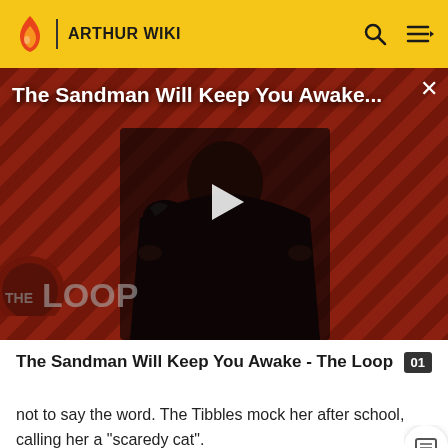ARTHUR WIKI
[Figure (screenshot): Video thumbnail for 'The Sandman Will Keep You Awake... - The Loop' showing a dark-cloaked figure against a red diagonal striped background with a play button overlay and THE LOOP watermark]
The Sandman Will Keep You Awake - The Loop
not to say the word. The Tibbles mock her after school, calling her a "scaredy cat".